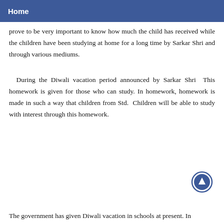Home
prove to be very important to know how much the child has received while the children have been studying at home for a long time by Sarkar Shri and through various mediums.
During the Diwali vacation period announced by Sarkar Shri  This homework is given for those who can study. In homework, homework is made in such a way that children from Std.  Children will be able to study with interest through this homework.
[Figure (illustration): Circular scroll-to-top button with upward arrow, dark blue border on white background]
The government has given Diwali vacation in schools at present. In